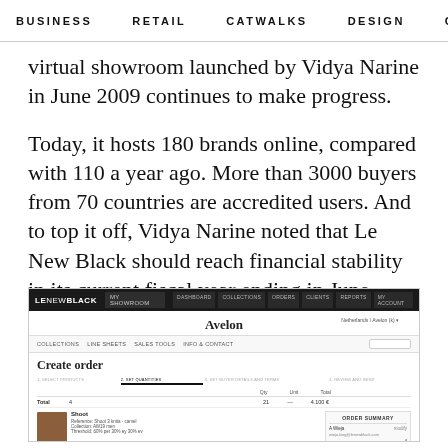BUSINESS   RETAIL   CATWALKS   DESIGN   CAMI >
virtual showroom launched by Vidya Narine in June 2009 continues to make progress.
Today, it hosts 180 brands online, compared with 110 a year ago. More than 3000 buyers from 70 countries are accredited users. And to top it off, Vidya Narine noted that Le New Black should reach financial stability in its current fiscal year ending in June.
[Figure (screenshot): Screenshot of Le New Black virtual showroom platform showing the Avelon brand page with a 'Create order' interface, order summary panel, and product image.]